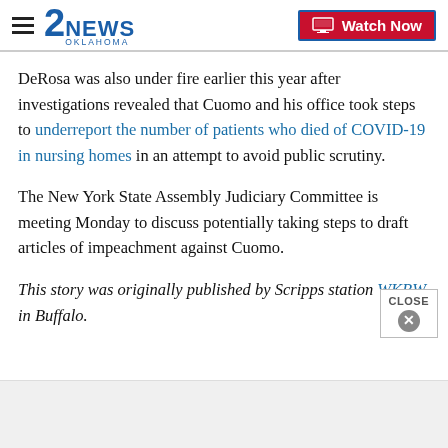2NEWS OKLAHOMA | Watch Now
DeRosa was also under fire earlier this year after investigations revealed that Cuomo and his office took steps to underreport the number of patients who died of COVID-19 in nursing homes in an attempt to avoid public scrutiny.
The New York State Assembly Judiciary Committee is meeting Monday to discuss potentially taking steps to draft articles of impeachment against Cuomo.
This story was originally published by Scripps station WKBW in Buffalo.